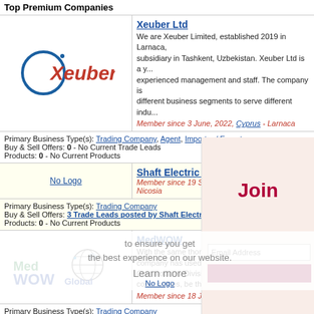Top Premium Companies
Xeuber Ltd
We are Xeuber Limited, established 2019 in Larnaca, subsidiary in Tashkent, Uzbekistan. Xeuber Ltd is a y... experienced management and staff. The company is different business segments to serve different indu...
Member since 3 June, 2022, Cyprus - Larnaca
Primary Business Type(s): Trading Company, Agent, Importer / Exporter
Buy & Sell Offers: 0 - No Current Trade Leads
Products: 0 - No Current Products
No Logo
Shaft Electric Co., Ltd.
Member since 19 September, 2009, Cyprus - Nicosia
Primary Business Type(s): Trading Company
Buy & Sell Offers: 3 Trade Leads posted by Shaft Electric Co., Ltd.
Products: 0 - No Current Products
[Figure (logo): MedWOW Global logo]
MedWOW
With the same thoroughness a... company has used for 20 yea... Commodities Division offers T... commodities, be they Oil relat...
Member since 18 January, 2013, Cy...
Primary Business Type(s): Trading Company
Buy & Sell Offers: 0 - No Current Trade Leads
Products: 0 - No Current Products
Valmena
Our company deals with poult... all the Middle Eats and gulf co...
Member since 18 March, 2010, Cy...
Join
Email Address